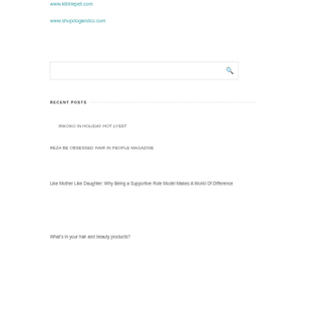www.kibblepet.com
www.shopdogandco.com
RECENT POSTS
RIKOKO IN HOLIDAY HOT LYSST
REZA BE OBSESSED HAIR IN PEOPLE MAGAZINE
Like Mother Like Daughter: Why Being a Supportive Role Model Makes A World Of Difference
What’s in your hair and beauty products?